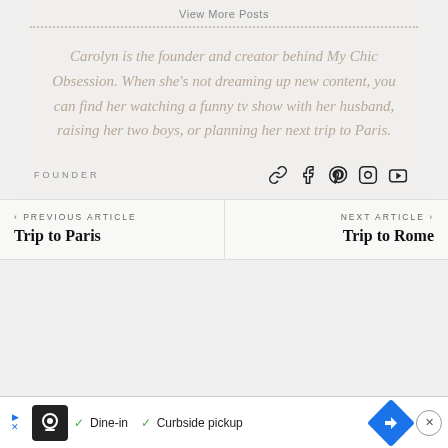View More Posts
Carolyn is the founder and creator behind My Chic Obsession. When she's not dreaming up new content, you can find her watching a funny tv show with her husband, raising her two boys, or planning her next trip to Paris.
FOUNDER
‹ PREVIOUS ARTICLE
Trip to Paris
NEXT ARTICLE ›
Trip to Rome
Dine-in  Curbside pickup